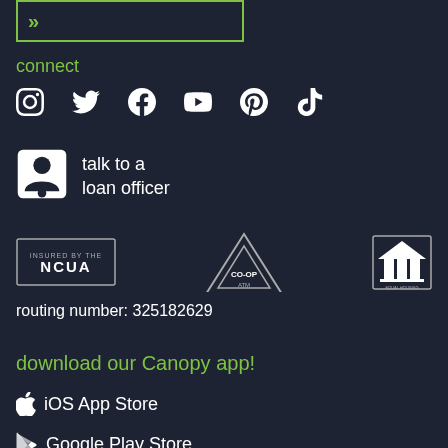[Figure (other): Green bordered box with double right chevron arrows]
connect
[Figure (other): Social media icons row: Instagram, Twitter, Facebook, YouTube, Pinterest, TikTok]
talk to a loan officer
[Figure (other): Compliance logos: NCUA, CO-OP ATM, Equal Housing Opportunity]
routing number: 325182629
download our Canopy app!
iOS App Store
Google Play Store